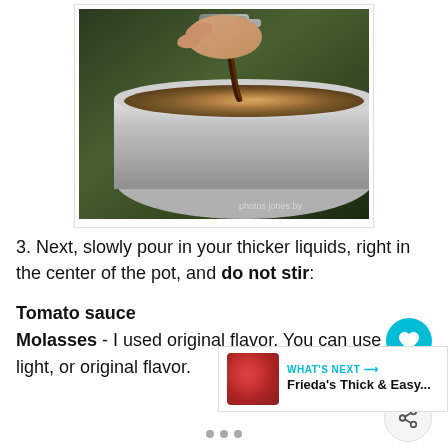[Figure (photo): A hand pouring dark liquid (molasses) from a measuring cup into a metal pot on a stove, with caramelized ingredients visible in the pot.]
3. Next, slowly pour in your thicker liquids, right in the center of the pot, and do not stir:
Tomato sauce
Molasses - I used original flavor. You can use mild, light, or original flavor.